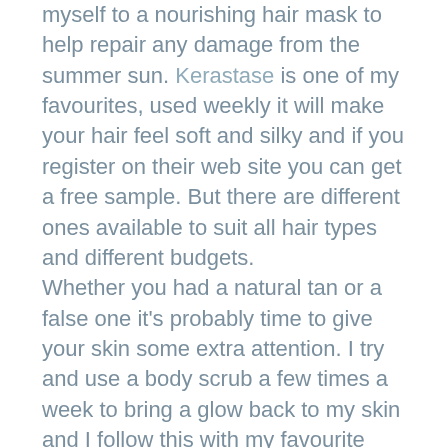myself to a nourishing hair mask to help repair any damage from the summer sun. Kerastase is one of my favourites, used weekly it will make your hair feel soft and silky and if you register on their web site you can get a free sample. But there are different ones available to suit all hair types and different budgets.
Whether you had a natural tan or a false one it's probably time to give your skin some extra attention. I try and use a body scrub a few times a week to bring a glow back to my skin and I follow this with my favourite body cream. L'Occitane make some gorgeous ones – the scrub is effective without feeling gritty and the cream is luxurious